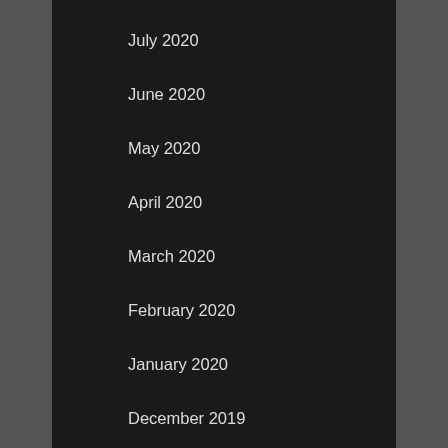July 2020
June 2020
May 2020
April 2020
March 2020
February 2020
January 2020
December 2019
CATEGORIES
Advertising & Marketing